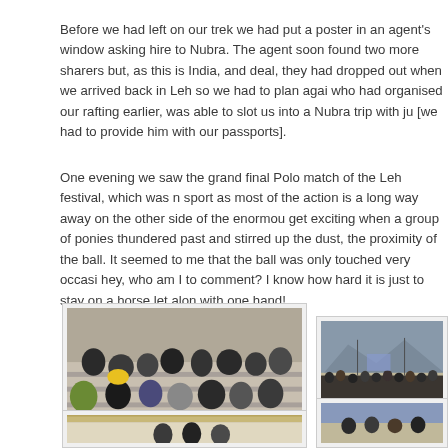Before we had left on our trek we had put a poster in an agent's window asking hire to Nubra. The agent soon found two more sharers but, as this is India, and deal, they had dropped out when we arrived back in Leh so we had to plan again who had organised our rafting earlier, was able to slot us into a Nubra trip with j [we had to provide him with our passports].
One evening we saw the grand final Polo match of the Leh festival, which was n sport as most of the action is a long way away on the other side of the enormou get exciting when a group of ponies thundered past and stirred up the dust, the proximity of the ball. It seemed to me that the ball was only touched very occasi hey, who am I to comment? I know how hard it is just to stay on a horse let alon with one hand!
[Figure (photo): Crowd of spectators sitting on steps at Polo match, Leh festival]
[Figure (photo): Wide view of polo field with crowd lining the side, Leh festival]
[Figure (photo): Another scene from the Leh festival polo match area]
[Figure (photo): Additional photo from Leh festival]